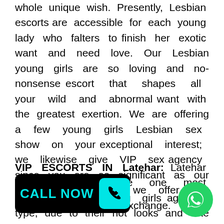whole unique wish. Presently, Lesbian escorts are accessible for each young lady who falters to finish her exotic want and need love. Our Lesbian young girls are so loving and no-nonsense escort that shapes all your wild and abnormal want with the greatest exertion. We are offering a few young girls Lesbian sex show on your exceptional interest; we likewise give VIP sex agency since you are as significant as our different clients, so we offer the whore agency with no exchange.
VIP ESCORTS IN Latehar: Latehar superstar escorts are one most requesting call young girls agencys type, due to their hot looks and elite m... he top decision o... VIP d... 't conceal your exotic want h... Punjabi and Bollywood VIP escorts models. They are totally qualified and
[Figure (other): CALL NOW button badge with phone icon in teal/cyan color on black background]
[Figure (other): WhatsApp green circle icon badge]